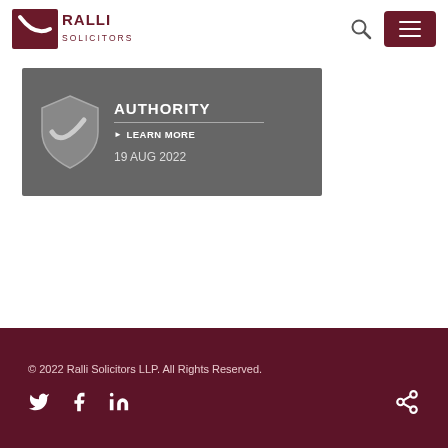Ralli Solicitors
[Figure (other): Banner card with shield/checkmark icon on grey background showing AUTHORITY heading, LEARN MORE link, and date 19 AUG 2022]
© 2022 Ralli Solicitors LLP. All Rights Reserved. | Twitter | Facebook | LinkedIn